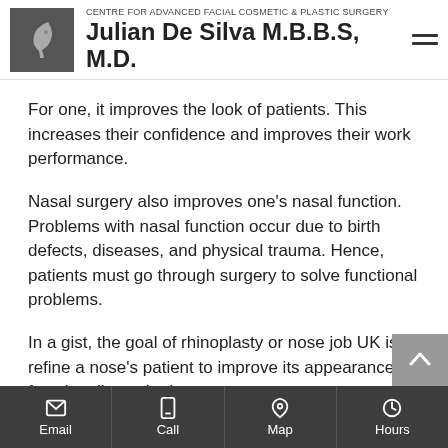CENTRE FOR ADVANCED FACIAL COSMETIC & PLASTIC SURGERY — Julian De Silva M.B.B.S, M.D.
For one, it improves the look of patients. This increases their confidence and improves their work performance.
Nasal surgery also improves one's nasal function. Problems with nasal function occur due to birth defects, diseases, and physical trauma. Hence, patients must go through surgery to solve functional problems.
In a gist, the goal of rhinoplasty or nose job UK is to refine a nose's patient to improve its appearance, functionality, or both.
To do this, the best cosmetic surgeons combine science and art to produce effective, long-lasting results. The
Email  Call  Map  Hours